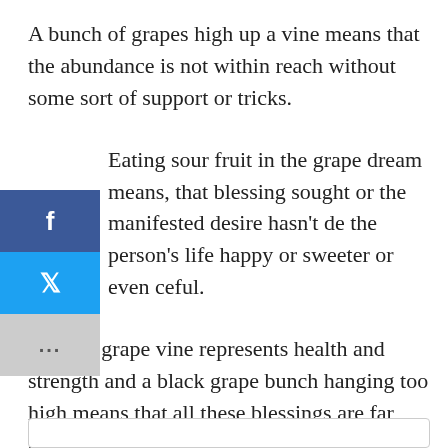A bunch of grapes high up a vine means that the abundance is not within reach without some sort of support or tricks.
Eating sour fruit in the grape dream means, that blessing sought or the manifested desire hasn't de the person's life happy or sweeter or even ceful.
A black grape vine represents health and strength and a black grape bunch hanging too high means that all these blessings are far away from the person without some support.